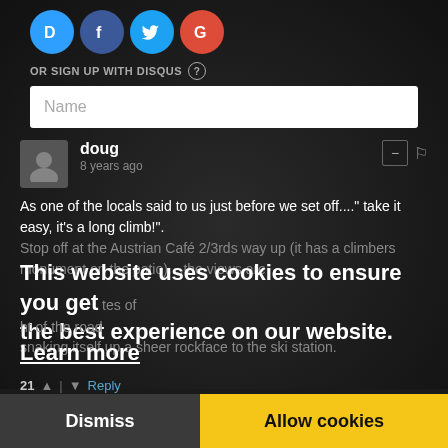[Figure (other): Social login icons: Disqus (blue), Facebook (blue), Twitter (light blue), Google (red) as circular icons]
OR SIGN UP WITH DISQUS (?)
Name (input field placeholder)
doug
8 years ago
As one of the locals said to us just before we set off...." take it easy, it's a long climb!".
Stop off at the Austrian Café 2/3rds way up (it has a climbers monument on the patio)....the views are
This website uses cookies to ensure you get the best experience on our website.
Learn more
utes of the road snaking itself up a sheer rockface to the ski station.
21 | Reply
Dismiss
Allow cookies
9 years ago
I assembled the bike in the village of Prato and started up out the village. About an hour into the ride I reach a